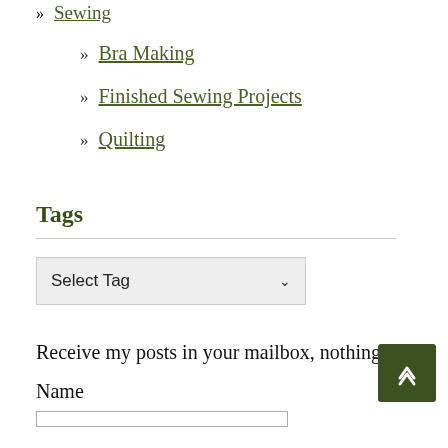» Sewing
» Bra Making
» Finished Sewing Projects
» Quilting
Tags
Select Tag (dropdown)
Receive my posts in your mailbox, nothing e
Name